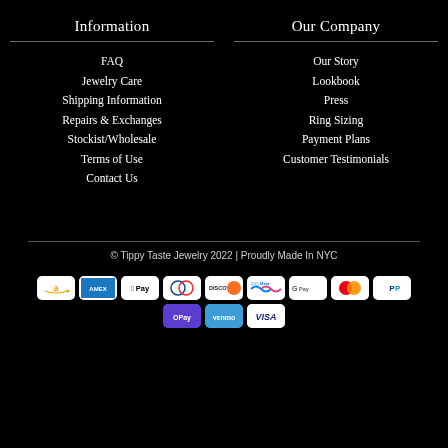Information
Our Company
FAQ
Jewelry Care
Shipping Information
Repairs & Exchanges
Stockist/Wholesale
Terms of Use
Contact Us
Our Story
Lookbook
Press
Ring Sizing
Payment Plans
Customer Testimonials
© Tippy Taste Jewelry 2022 | Proudly Made In NYC
[Figure (other): Payment method badges: Amazon, Amex, Apple Pay, Diners, Discover, Meta, Google Pay, Mastercard, PayPal, OPay, Venmo, Visa]